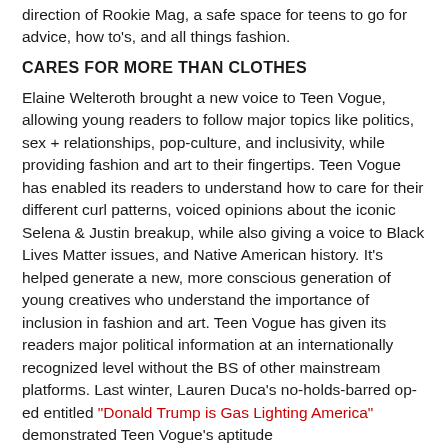direction of Rookie Mag, a safe space for teens to go for advice, how to's, and all things fashion.
CARES FOR MORE THAN CLOTHES
Elaine Welteroth brought a new voice to Teen Vogue, allowing young readers to follow major topics like politics, sex + relationships, pop-culture, and inclusivity, while providing fashion and art to their fingertips. Teen Vogue has enabled its readers to understand how to care for their different curl patterns, voiced opinions about the iconic Selena & Justin breakup, while also giving a voice to Black Lives Matter issues, and Native American history. It's helped generate a new, more conscious generation of young creatives who understand the importance of inclusion in fashion and art. Teen Vogue has given its readers major political information at an internationally recognized level without the BS of other mainstream platforms. Last winter, Lauren Duca's no-holds-barred op-ed entitled "Donald Trump is Gas Lighting America" demonstrated Teen Vogue's aptitude